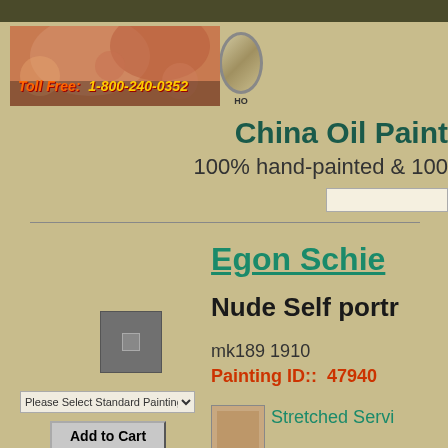[Figure (illustration): Website banner with classical painting background showing figures in flowers, with text 'Toll Free: 1-800-240-0352' in orange/yellow italic bold font]
China Oil Paint
100% hand-painted & 100
Egon Schie
Nude Self portr
mk189 1910
Painting ID::  47940
Stretched Servi